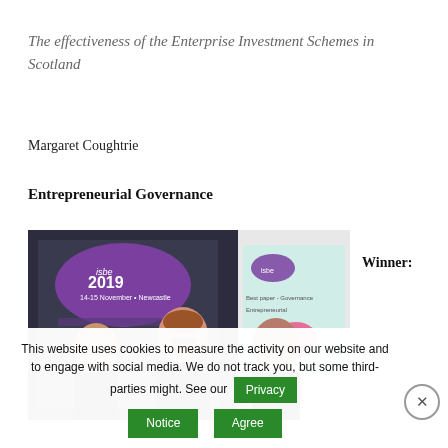The effectiveness of the Enterprise Investment Schemes in Scotland
Margaret Coughtrie
Entrepreneurial Governance
[Figure (photo): Three women standing together at an ISBE 2019 conference event, with a purple ISBE 2019 logo banner visible in the background and a presentation slide showing 'Entrepreneurial Governance' and 'The Winner'.]
Winner:
This website uses cookies to measure the activity on our website and to engage with social media. We do not track you, but some third-parties might. See our Privacy Notice Agree